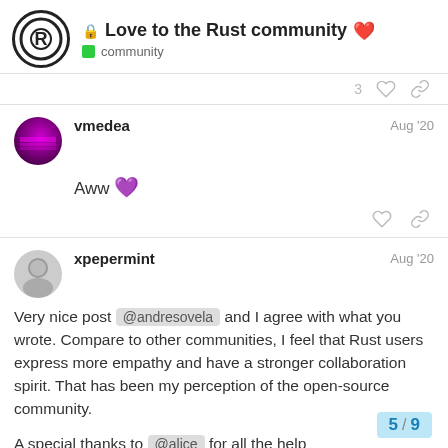Love to the Rust community 🔒 ❤️ community
3 ♡ 🔗
vmedea Aug '20
Aww 💜
♡ 🔗
xpepermint Aug '20
Very nice post @andresovela and I agree with what you wrote. Compare to other communities, I feel that Rust users express more empathy and have a stronger collaboration spirit. That has been my perception of the open-source community.
A special thanks to @alice for all the help
5 / 9